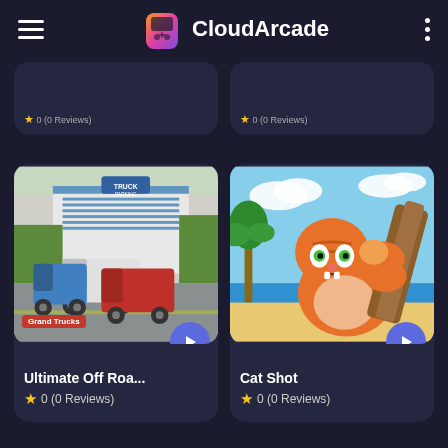CloudArcade
[Figure (screenshot): Partially visible game card 1 with star rating and review count at bottom]
[Figure (screenshot): Partially visible game card 2 with star rating and review count at bottom]
[Figure (illustration): Game thumbnail for Ultimate Off Road - showing trucks and semi-trucks in a parking area with buildings]
Ultimate Off Roa...
0 (0 Reviews)
[Figure (illustration): Game thumbnail for Cat Shot - showing an orange cartoon cat on a beach holding wooden planks]
Cat Shot
0 (0 Reviews)